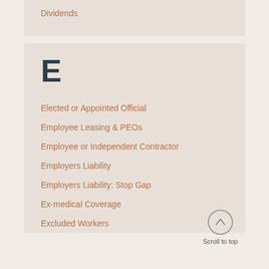Dividends
E
Elected or Appointed Official
Employee Leasing & PEOs
Employee or Independent Contractor
Employers Liability
Employers Liability: Stop Gap
Ex-medical Coverage
Excluded Workers
Scroll to top